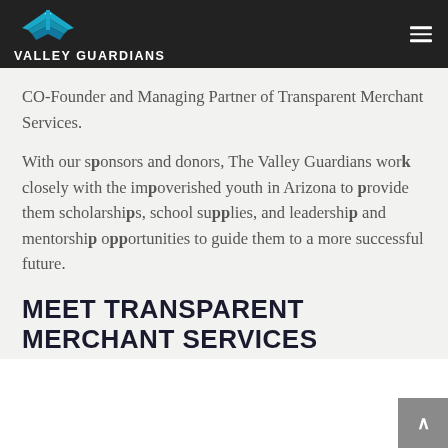VALLEY GUARDIANS
CO-Founder and Managing Partner of Transparent Merchant Services.
With our sponsors and donors, The Valley Guardians work closely with the impoverished youth in Arizona to provide them scholarships, school supplies, and leadership and mentorship opportunities to guide them to a more successful future.
MEET TRANSPARENT MERCHANT SERVICES